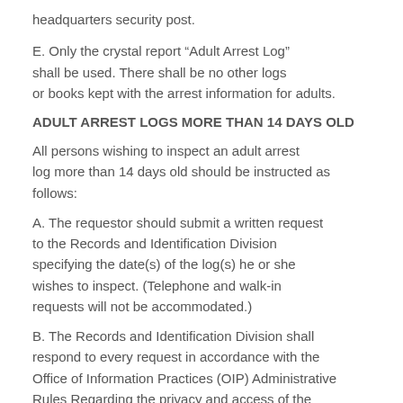headquarters security post.
E. Only the crystal report “Adult Arrest Log” shall be used. There shall be no other logs or books kept with the arrest information for adults.
ADULT ARREST LOGS MORE THAN 14 DAYS OLD
All persons wishing to inspect an adult arrest log more than 14 days old should be instructed as follows:
A. The requestor should submit a written request to the Records and Identification Division specifying the date(s) of the log(s) he or she wishes to inspect. (Telephone and walk-in requests will not be accommodated.)
B. The Records and Identification Division shall respond to every request in accordance with the Office of Information Practices (OIP) Administrative Rules Regarding the privacy and access of the